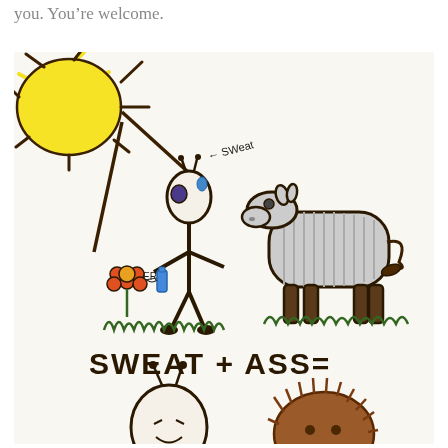you. You're welcome.
[Figure (illustration): A child's crayon drawing showing a stick figure person sweating (labeled 'sweat' with an arrow) holding a water bottle (labeled 'WATER') standing next to a flower and grass, beside a gray donkey/horse standing on grass. Below them is the text 'SWEAT + ASS=' and at the bottom partial drawings of two more figures.]